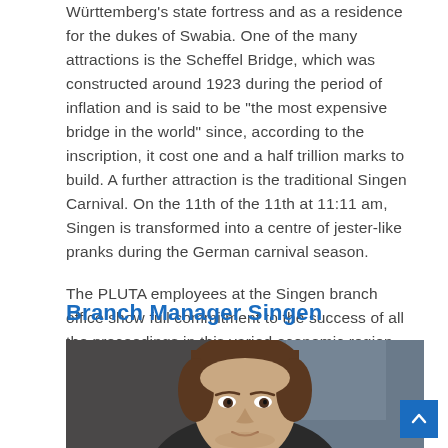Württemberg's state fortress and as a residence for the dukes of Swabia. One of the many attractions is the Scheffel Bridge, which was constructed around 1923 during the period of inflation and is said to be "the most expensive bridge in the world" since, according to the inscription, it cost one and a half trillion marks to build. A further attraction is the traditional Singen Carnival. On the 11th of the 11th at 11:11 am, Singen is transformed into a centre of jester-like pranks during the German carnival season.
The PLUTA employees at the Singen branch office show full commitment to the success of all the proceedings in this varied economic region.
Branch Manager Singen
[Figure (photo): Portrait photo of a man with brown hair, photographed from the shoulders up against a blurred background.]